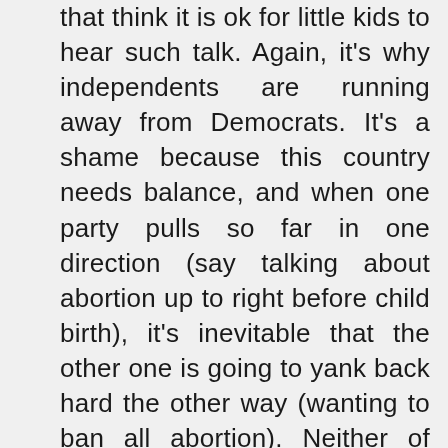that think it is ok for little kids to hear such talk. Again, it's why independents are running away from Democrats. It's a shame because this country needs balance, and when one party pulls so far in one direction (say talking about abortion up to right before child birth), it's inevitable that the other one is going to yank back hard the other way (wanting to ban all abortion). Neither of those